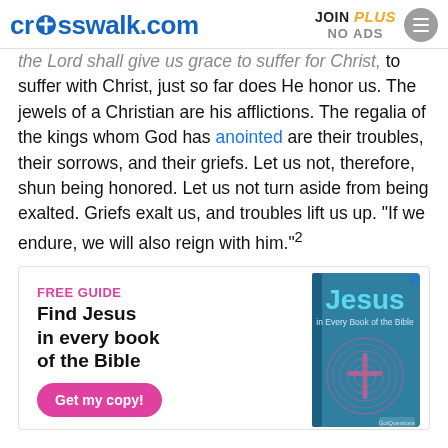crosswalk.com | JOIN PLUS NO ADS
the Lord shall give us grace to suffer for Christ, to suffer with Christ, just so far does He honor us. The jewels of a Christian are his afflictions. The regalia of the kings whom God has anointed are their troubles, their sorrows, and their griefs. Let us not, therefore, shun being honored. Let us not turn aside from being exalted. Griefs exalt us, and troubles lift us up. "If we endure, we will also reign with him."²
[Figure (advertisement): Ad for 'Jesus in Every Book of the Bible' free guide with a pink 'Get my copy!' button and book cover image.]